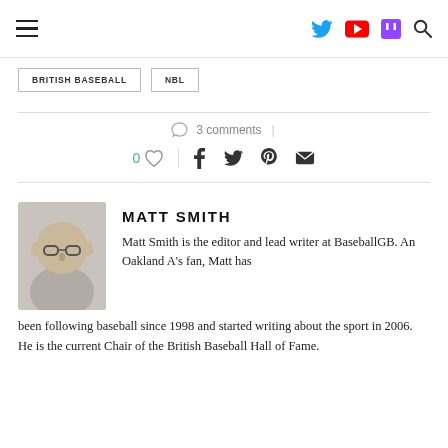Navigation bar with hamburger menu and social icons (Twitter, YouTube, Twitch, Search)
BRITISH BASEBALL
NBL
3 comments
0 [like] | [share icons: facebook, twitter, pinterest, email]
MATT SMITH
Matt Smith is the editor and lead writer at BaseballGB. An Oakland A's fan, Matt has been following baseball since 1998 and started writing about the sport in 2006. He is the current Chair of the British Baseball Hall of Fame.